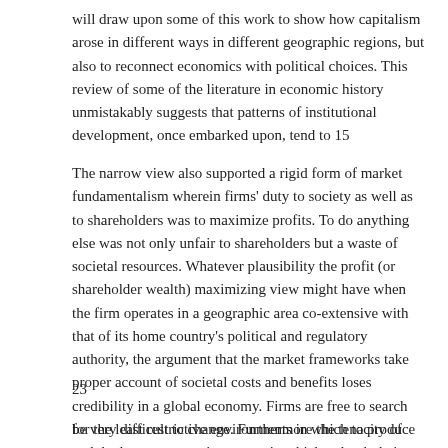will draw upon some of this work to show how capitalism arose in different ways in different geographic regions, but also to reconnect economics with political choices. This review of some of the literature in economic history unmistakably suggests that patterns of institutional development, once embarked upon, tend to 15
The narrow view also supported a rigid form of market fundamentalism wherein firms' duty to society as well as to shareholders was to maximize profits. To do anything else was not only unfair to shareholders but a waste of societal resources. Whatever plausibility the profit (or shareholder wealth) maximizing view might have when the firm operates in a geographic area co-extensive with that of its home country's political and regulatory authority, the argument that the market frameworks take proper account of societal costs and benefits loses credibility in a global economy. Firms are free to search for the least restrictive environments in which to produce and the lowest tax environments in which to book their earnings.
23
be very difficult to change. Furthermore the tenacity of